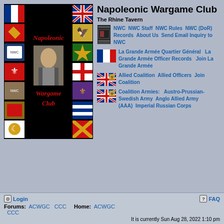[Figure (illustration): Napoleonic Wargame Club banner image with flags and Napoleon portrait on black background]
Napoleonic Wargame Club
The Rhine Tavern
[Figure (illustration): Film strip icon]
NWC   NWC Staff   NWC Rules   NWC (DoR) Records   About Us   Send Email Inquiry to NWC
[Figure (illustration): French flag icon]
La Grande Armée Quartier Général    La Grande Armée Officer Records    Join La Grande Armée
[Figure (illustration): Allied Coalition flag icon]
Allied Coalition   Allied Officers   Join Coalition
[Figure (illustration): Coalition Armies flag icon]
Coalition Armies:   Austro-Prussian-Swedish Army   Anglo Allied Army (AAA)   Imperial Russian Corps
Login   FAQ   Forums: ACWGC  CCC   Home: ACWGC  CCC   It is currently Sun Aug 28, 2022 1:10 pm